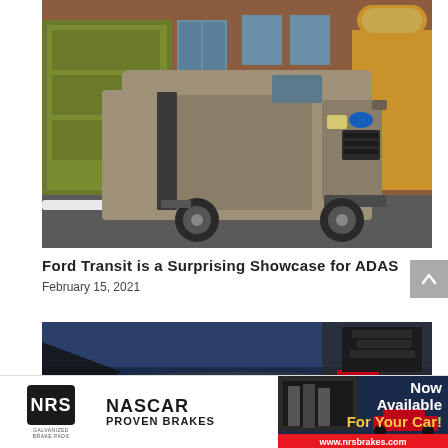[Figure (photo): A bronze/tan Ford Transit cargo van with sliding door open, parked in front of a brick building with green and yellow/gold painted garage doors and windows, photographed from a front-three-quarter angle on a gray asphalt surface with snow visible.]
Ford Transit is a Surprising Showcase for ADAS
February 15, 2021
[Figure (photo): A motorsport/NASCAR racing scene showing a car on track, dark dramatic lighting.]
[Figure (infographic): NRS Galvanized Brake Pads advertisement banner featuring NRS logo, NASCAR PROVEN BRAKES text, a racing car image, and 'Now Available For Your Car!' text with website www.nrsbrakes.com shown on a red strip.]